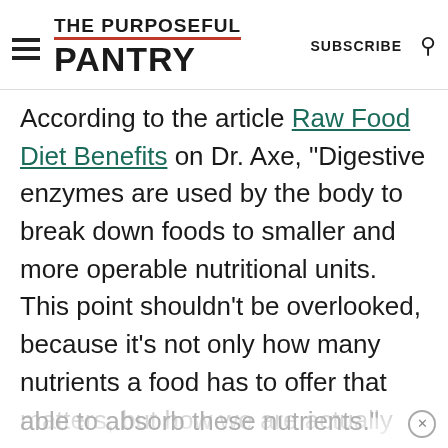THE PURPOSEFUL PANTRY | SUBSCRIBE
According to the article Raw Food Diet Benefits on Dr. Axe, "Digestive enzymes are used by the body to break down foods to smaller and more operable nutritional units. This point shouldn't be overlooked, because it's not only how many nutrients a food has to offer that matters, but how we are actually able to absorb these nutrients."